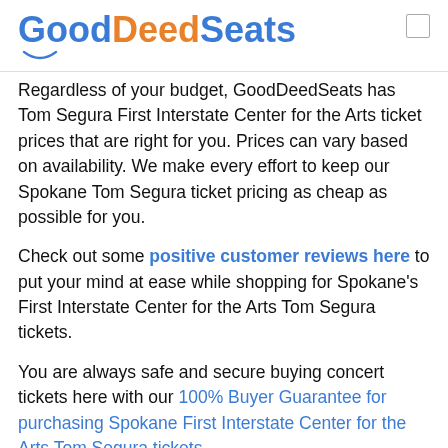GoodDeedSeats
Regardless of your budget, GoodDeedSeats has Tom Segura First Interstate Center for the Arts ticket prices that are right for you. Prices can vary based on availability. We make every effort to keep our Spokane Tom Segura ticket pricing as cheap as possible for you.
Check out some positive customer reviews here to put your mind at ease while shopping for Spokane's First Interstate Center for the Arts Tom Segura tickets.
You are always safe and secure buying concert tickets here with our 100% Buyer Guarantee for purchasing Spokane First Interstate Center for the Arts Tom Segura tickets.
Other Concerts and Events in Spokane,